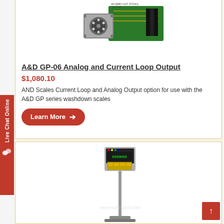[Figure (photo): A&D GP-06 Analog and Current Loop Output product image - electronic circuit board component with connector]
A&D GP-06 Analog and Current Loop Output
$1,080.10
AND Scales Current Loop and Analog Output option for use with the A&D GP series washdown scales
Learn More →
[Figure (photo): A&D weighing scale with display unit on a pole stand, floor scale platform visible at bottom]